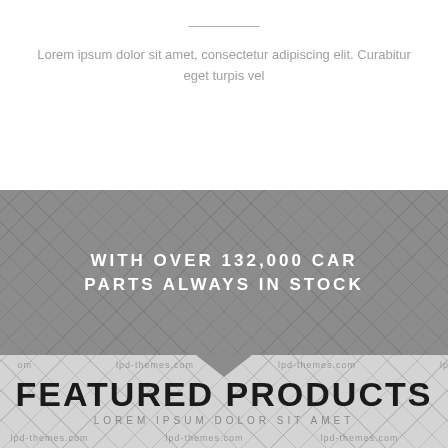Lorem ipsum dolor sit amet, consectetur adipiscing elit. Curabitur eget turpis vel
WITH OVER 132,000 CAR PARTS ALWAYS IN STOCK
FEATURED PRODUCTS
LOREM IPSUM DOLOR SIT AMET